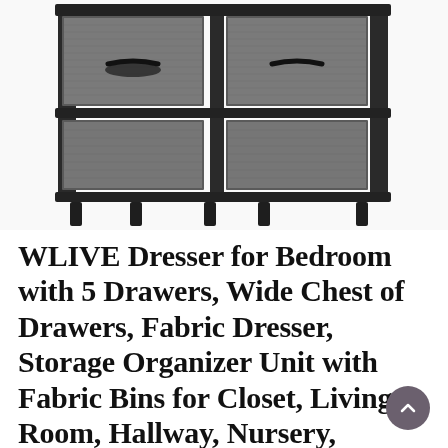[Figure (photo): A wide dresser with 5 fabric drawers in dark grey, metal black frame, shown from a slightly elevated angle. Two wide bottom drawers with black handles are visible. The dresser has black metal legs.]
WLIVE Dresser for Bedroom with 5 Drawers, Wide Chest of Drawers, Fabric Dresser, Storage Organizer Unit with Fabric Bins for Closet, Living Room, Hallway, Nursery, Dark Grey